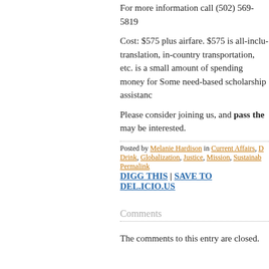For more information call (502) 569-5819
Cost: $575 plus airfare. $575 is all-inclusive translation, in-country transportation, etc. is a small amount of spending money for Some need-based scholarship assistance
Please consider joining us, and pass the may be interested.
Posted by Melanie Hardison in Current Affairs, D Drink, Globalization, Justice, Mission, Sustainab Permalink
DIGG THIS | SAVE TO DEL.ICIO.US
Comments
The comments to this entry are closed.